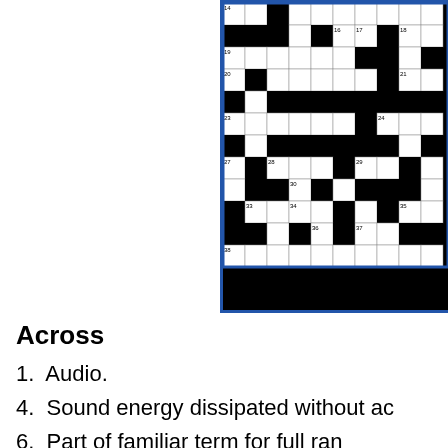[Figure (other): Partial crossword puzzle grid showing numbered white and black cells. Visible clue numbers include 14, 16, 17, 18, 19, 20, 21, 23, 24, 27, 28, 29, 30, 33, 34, 35, 36, 37, 38.]
Across
1.  Audio.
4.  Sound energy dissipated without ac
6.  Part of familiar term for full ran